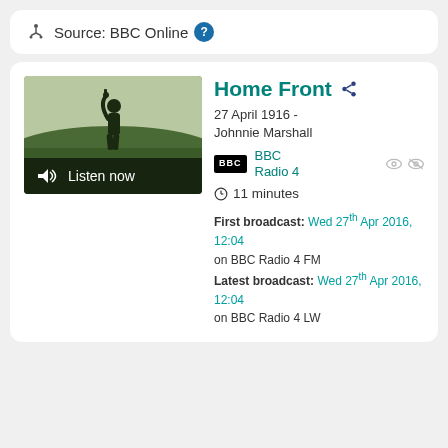Source: BBC Online
[Figure (screenshot): BBC programme thumbnail showing a person with raised arm against a landscape background, with a 'Listen now' overlay]
Home Front
27 April 1916 - Johnnie Marshall
BBC Radio 4
11 minutes
First broadcast: Wed 27th Apr 2016, 12:04 on BBC Radio 4 FM
Latest broadcast: Wed 27th Apr 2016, 12:04 on BBC Radio 4 LW